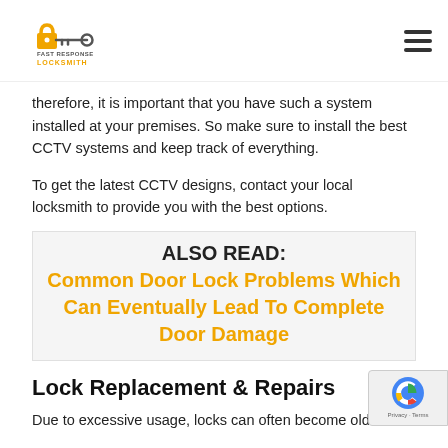Fast Response Locksmith
therefore, it is important that you have such a system installed at your premises. So make sure to install the best CCTV systems and keep track of everything.
To get the latest CCTV designs, contact your local locksmith to provide you with the best options.
ALSO READ:  Common Door Lock Problems Which Can Eventually Lead To Complete Door Damage
Lock Replacement & Repairs
Due to excessive usage, locks can often become old and